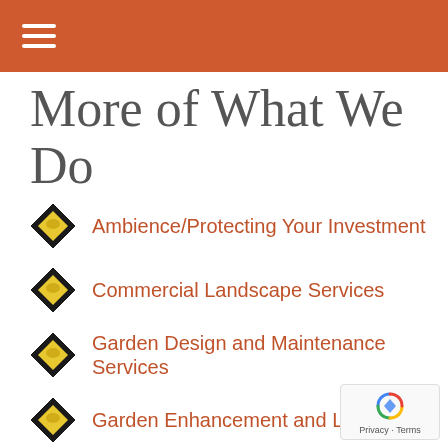More of What We Do
Ambience/Protecting Your Investment
Commercial Landscape Services
Garden Design and Maintenance Services
Garden Enhancement and Lawn Care
Landscape Construction
Landscape Design Service